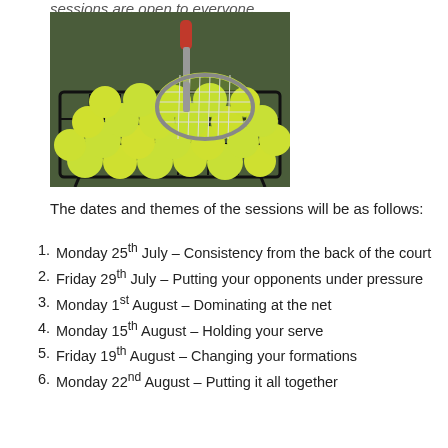sessions are open to everyone.
[Figure (photo): A basket/cart full of yellow tennis balls with a yellow and white tennis racket resting across them]
The dates and themes of the sessions will be as follows:
Monday 25th July – Consistency from the back of the court
Friday 29th July – Putting your opponents under pressure
Monday 1st August – Dominating at the net
Monday 15th August – Holding your serve
Friday 19th August – Changing your formations
Monday 22nd August – Putting it all together